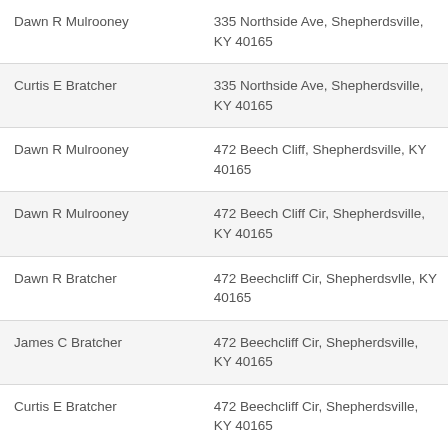| Name | Address |
| --- | --- |
| Dawn R Mulrooney | 335 Northside Ave, Shepherdsville, KY 40165 |
| Curtis E Bratcher | 335 Northside Ave, Shepherdsville, KY 40165 |
| Dawn R Mulrooney | 472 Beech Cliff, Shepherdsville, KY 40165 |
| Dawn R Mulrooney | 472 Beech Cliff Cir, Shepherdsville, KY 40165 |
| Dawn R Bratcher | 472 Beechcliff Cir, Shepherdsvlle, KY 40165 |
| James C Bratcher | 472 Beechcliff Cir, Shepherdsville, KY 40165 |
| Curtis E Bratcher | 472 Beechcliff Cir, Shepherdsville, KY 40165 |